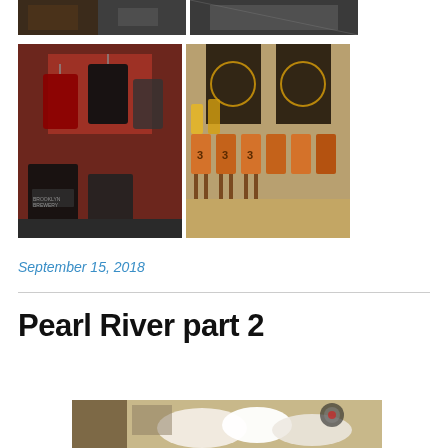[Figure (photo): Top row of two photos from a brewery or bar venue, dark interior shots]
[Figure (photo): Bottom left photo: Brooklyn Brewery merchandise/clothing store display with red and black jerseys hanging on racks]
[Figure (photo): Bottom right photo: Vintage orange and brown stadium/stadium-style chairs in a row with dark decorative panels behind]
September 15, 2018
Pearl River part 2
[Figure (photo): Partial bottom photo showing a cozy interior with white fluffy decor/cushions and wall items]